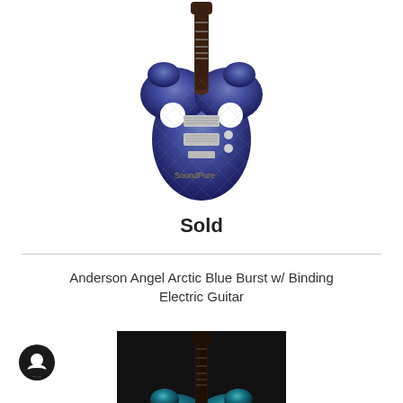[Figure (photo): Electric guitar with blue burst quilted maple top, double cutaway body, two humbuckers, chrome hardware, dark rosewood fretboard. SoundPure watermark visible. White background.]
Sold
Anderson Angel Arctic Blue Burst w/ Binding Electric Guitar
[Figure (photo): Electric guitar with teal/blue flame maple top, double cutaway body, dark rosewood fretboard, two humbuckers, black background.]